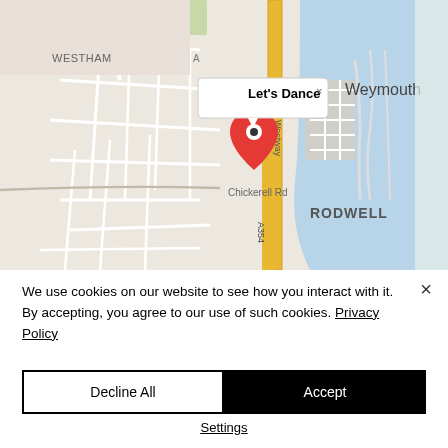[Figure (map): Google Maps screenshot showing Weymouth area with a red location pin labeled 'Let's Dance'. Shows areas including Westham, Rodwell, and Weymouth town. Roads including Westway and A354 are visible. A tooltip/popup shows 'Let's Dance' with a close X.]
We use cookies on our website to see how you interact with it. By accepting, you agree to our use of such cookies. Privacy Policy
Decline All
Accept
Settings